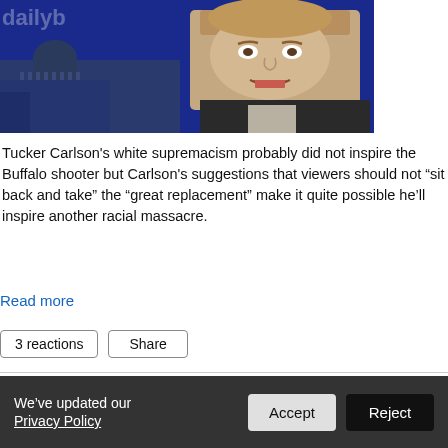[Figure (photo): Screenshot of a TV news broadcast showing a man (Tucker Carlson) in a suit and tie speaking, with the U.S. Capitol building visible in the background on a blue screen]
Tucker Carlson's white supremacism probably did not inspire the Buffalo shooter but Carlson's suggestions that viewers should not “sit back and take” the “great replacement” make it quite possible he’ll inspire another racial massacre.
Read more
3 reactions   Share
In Wake Of Buffalo Shooting, Fox News
We’ve updated our Privacy Policy   Accept   Reject